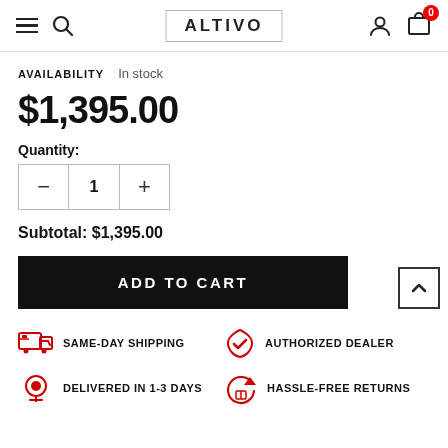ALTIVO
AVAILABILITY  In stock
$1,395.00
Quantity:
Subtotal: $1,395.00
ADD TO CART
SAME-DAY SHIPPING
AUTHORIZED DEALER
DELIVERED IN 1-3 DAYS
HASSLE-FREE RETURNS